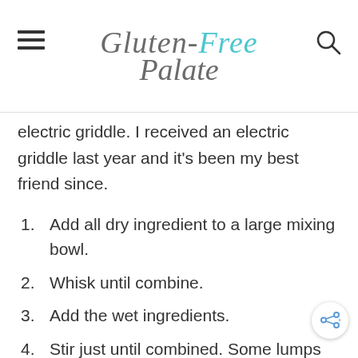Gluten-Free Palate
electric griddle. I received an electric griddle last year and it's been my best friend since.
Add all dry ingredient to a large mixing bowl.
Whisk until combine.
Add the wet ingredients.
Stir just until combined. Some lumps